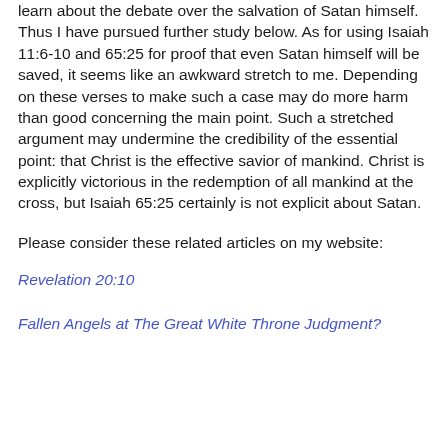learn about the debate over the salvation of Satan himself.  Thus I have pursued further study below.  As for using Isaiah 11:6-10 and 65:25 for proof that even Satan himself will be saved, it seems like an awkward stretch to me.  Depending on these verses to make such a case may do more harm than good concerning the main point.  Such a stretched argument may undermine the credibility of the essential point: that Christ is the effective savior of mankind.  Christ is explicitly victorious in the redemption of all mankind at the cross, but Isaiah 65:25 certainly is not explicit about Satan.
Please consider these related articles on my website:
Revelation 20:10
Fallen Angels at The Great White Throne Judgment?